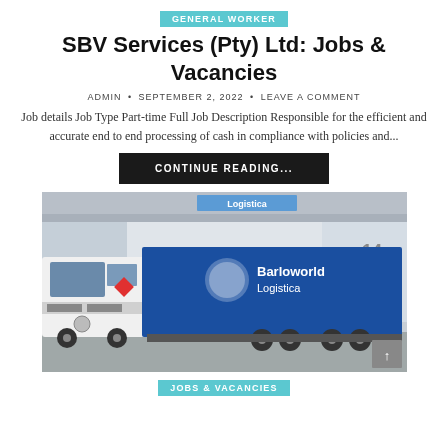GENERAL WORKER
SBV Services (Pty) Ltd: Jobs & Vacancies
ADMIN • SEPTEMBER 2, 2022 • LEAVE A COMMENT
Job details Job Type Part-time Full Job Description Responsible for the efficient and accurate end to end processing of cash in compliance with policies and...
CONTINUE READING...
[Figure (photo): A white Mercedes-Benz truck with a blue trailer branded 'Barloworld Logistica' parked at a warehouse with 'Logistica' signage visible.]
JOBS & VACANCIES